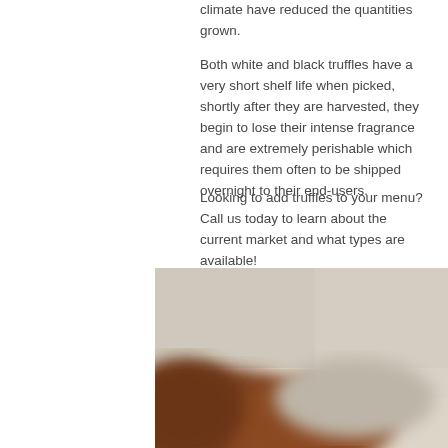climate have reduced the quantities grown.
Both white and black truffles have a very short shelf life when picked, shortly after they are harvested, they begin to lose their intense fragrance and are extremely perishable which requires them often to be shipped overnight to their end-users.
Looking to add truffles to your menu? Call us today to learn about the current market and what types are available!
[Figure (photo): Blurred close-up photograph of what appears to be hands or objects on a light beige/cream background, with warm brown tones in the foreground.]